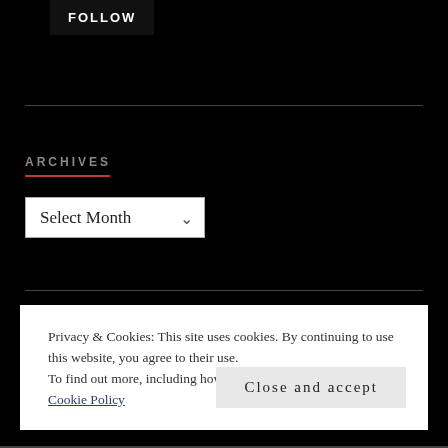FOLLOW
ARCHIVES
Select Month
Privacy & Cookies: This site uses cookies. By continuing to use this website, you agree to their use.
To find out more, including how to control cookies, see here: Cookie Policy
Close and accept